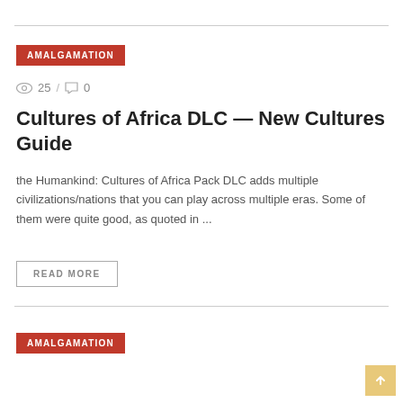AMALGAMATION
👁 25 / 💬 0
Cultures of Africa DLC — New Cultures Guide
the Humankind: Cultures of Africa Pack DLC adds multiple civilizations/nations that you can play across multiple eras. Some of them were quite good, as quoted in ...
READ MORE
AMALGAMATION